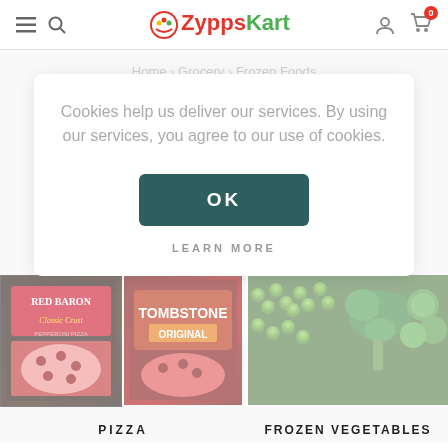ZyppsKart
Home > Grocery > Frozen Foods
Cookies help us deliver our services. By using our services, you agree to our use of cookies.
OK
LEARN MORE
[Figure (screenshot): Red Baron Classic Crust Pepperoni Pizza product box]
[Figure (screenshot): Tombstone Original Pizza product box]
[Figure (screenshot): Frozen vegetables including peas, broccoli, and brussels sprouts]
PIZZA
FROZEN VEGETABLES